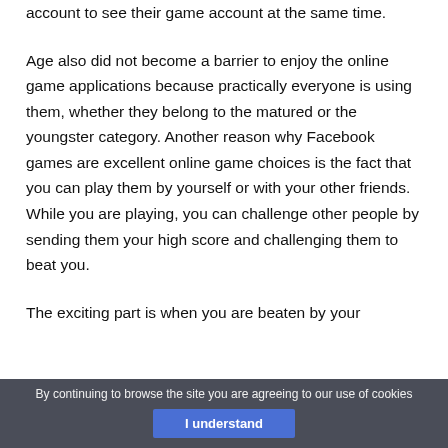account to see their game account at the same time.
Age also did not become a barrier to enjoy the online game applications because practically everyone is using them, whether they belong to the matured or the youngster category. Another reason why Facebook games are excellent online game choices is the fact that you can play them by yourself or with your other friends. While you are playing, you can challenge other people by sending them your high score and challenging them to beat you.
The exciting part is when you are beaten by your
By continuing to browse the site you are agreeing to our use of cookies
I understand